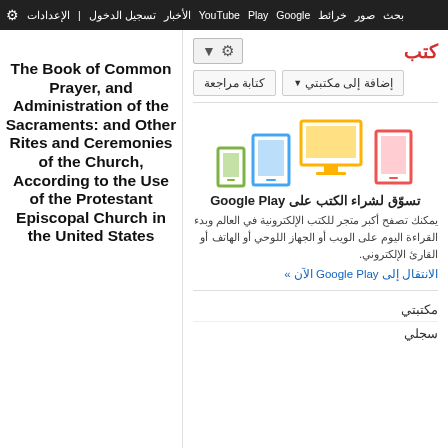بحث صور خرائط Google Play YouTube الأخبار تسجيل الدخول الإعدادات
كتب
إضافة إلى مكتبتي ▼
كتابة مراجعة
The Book of Common Prayer, and Administration of the Sacraments: and Other Rites and Ceremonies of the Church, According to the Use of the Protestant Episcopal Church in the United States
[Figure (illustration): Device icons: smartphone (green), tablet (blue), desktop monitor (yellow/orange), e-reader (red) representing Google Play Books on multiple devices]
تسوّق لشراء الكتب على Google Play
يمكنك تصفح أكبر متجر للكتب الإلكترونية في العالم وبدء القراءة اليوم على الويب أو الجهاز اللوحي أو الهاتف أو القارئ الإلكتروني.
الانتقال إلى Google Play الآن »
مكتبتي
سجلي